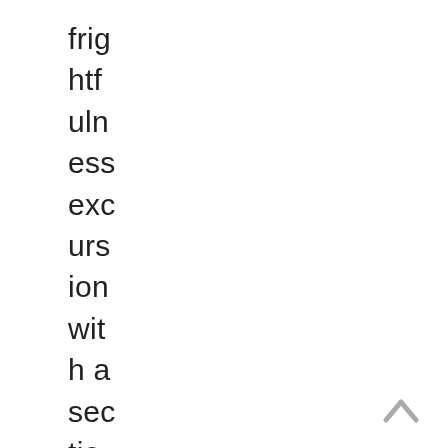frighfulness excursion with a section on its intellectual
[Figure (other): Navigation up-arrow chevron icon in grey, bottom-right corner]